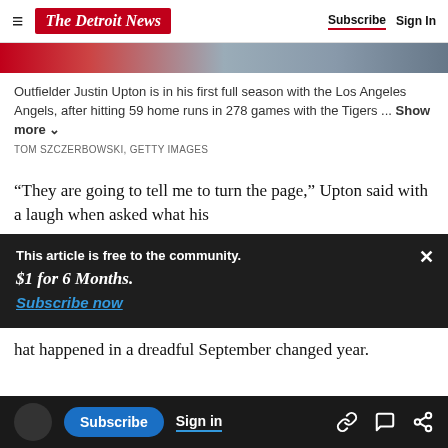The Detroit News | Subscribe | Sign In
[Figure (photo): Partial photo strip showing colorful scene behind navigation bar]
Outfielder Justin Upton is in his first full season with the Los Angeles Angels, after hitting 59 home runs in 278 games with the Tigers ... Show more
TOM SZCZERBOWSKI, GETTY IMAGES
“They are going to tell me to turn the page,” Upton said with a laugh when asked what his
This article is free to the community. $1 for 6 Months. Subscribe now
that happened in a dreadful September changed year.